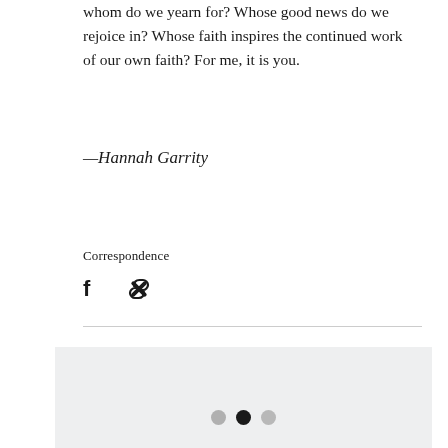whom do we yearn for? Whose good news do we rejoice in? Whose faith inspires the continued work of our own faith? For me, it is you.
—Hannah Garrity
Correspondence
[Figure (other): Social sharing icons: Facebook (f) and a link/chain icon]
[Figure (other): Light gray box with three dots (pagination indicator): light gray dot, black dot, light gray dot]